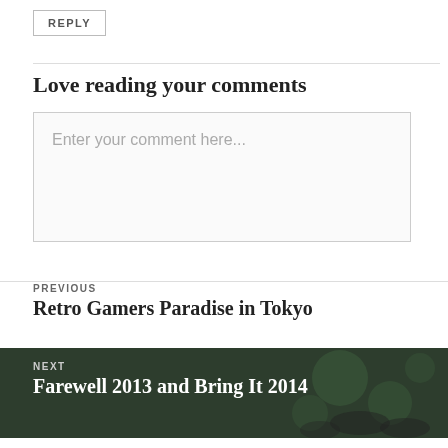REPLY
Love reading your comments
Enter your comment here...
PREVIOUS
Retro Gamers Paradise in Tokyo
NEXT
Farewell 2013 and Bring It 2014
Proudly powered by WordPress